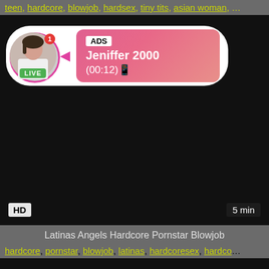teen, hardcore, blowjob, hardsex, tiny tits, asian woman, ...
[Figure (screenshot): Video thumbnail showing a dark/black video player with an ADS overlay popup. The popup shows a profile picture of a woman with a LIVE badge, a pink gradient card labeled ADS with name Jeniffer 2000 and time (00:12). Bottom left shows HD badge, bottom right shows 5 min duration.]
Latinas Angels Hardcore Pornstar Blowjob
hardcore, pornstar, blowjob, latinas, hardcoresex, hardco...
[Figure (screenshot): Dark/black video thumbnail, second video player block.]